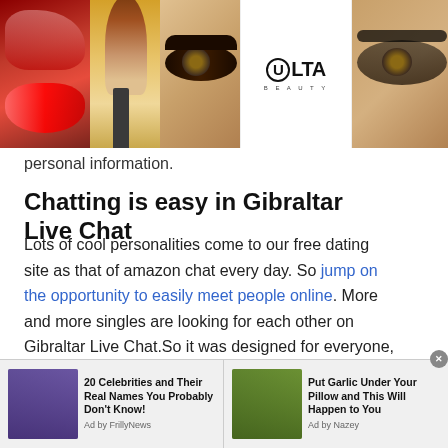[Figure (photo): Advertisement banner for ULTA Beauty at the top of the page, showing makeup/cosmetics imagery: red lips, makeup brush, eye with dramatic makeup, ULTA logo on white background, eye with dramatic makeup, and SHOP NOW text on grey background]
personal information.
Chatting is easy in Gibraltar Live Chat
Lots of cool personalities come to our free dating site as that of amazon chat every day. So jump on the opportunity to easily meet people online. More and more singles are looking for each other on Gibraltar Live Chat.So it was designed for everyone, everyone can find their soulmate: friendship, discreet meetings, quick encounters, lasting relationships, exchanges, outings, etc.
[Figure (screenshot): Bottom advertisement bar showing two sponsored content items: '20 Celebrities and Their Real Names You Probably Don't Know!' (Ad by FrillyNews) with photo of Oprah Winfrey, and 'Put Garlic Under Your Pillow and This Will Happen to You' (Ad by Nurey) with food/garlic photo. Close button (x) in top right.]